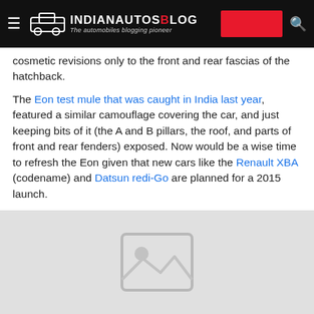IndianAutosBlog — The automobiles blogging pioneer
cosmetic revisions only to the front and rear fascias of the hatchback.
The Eon test mule that was caught in India last year, featured a similar camouflage covering the car, and just keeping bits of it (the A and B pillars, the roof, and parts of front and rear fenders) exposed. Now would be a wise time to refresh the Eon given that new cars like the Renault XBA (codename) and Datsun redi-Go are planned for a 2015 launch.
Also read: Hyundai i20 Cross confirmed for an early 2015 launch
[Figure (photo): Placeholder image with a grey background and image icon]